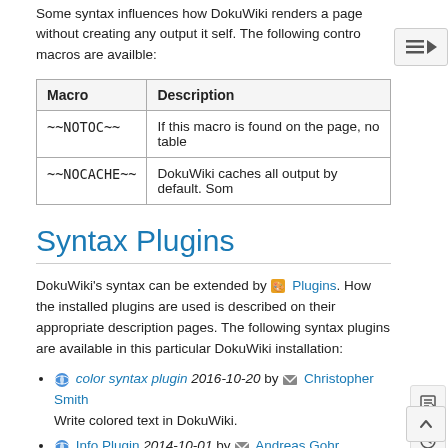Some syntax influences how DokuWiki renders a page without creating any output it self. The following control macros are availble:
| Macro | Description |
| --- | --- |
| ~~NOTOC~~ | If this macro is found on the page, no table |
| ~~NOCACHE~~ | DokuWiki caches all output by default. Som |
Syntax Plugins
DokuWiki's syntax can be extended by 🎨 Plugins. How the installed plugins are used is described on their appropriate description pages. The following syntax plugins are available in this particular DokuWiki installation:
🌐 color syntax plugin 2016-10-20 by ✉ Christopher Smith
Write colored text in DokuWiki.
🌐 Info Plugin 2014-10-01 by ✉ Andreas Gohr
Displays information about various DokuWiki internals